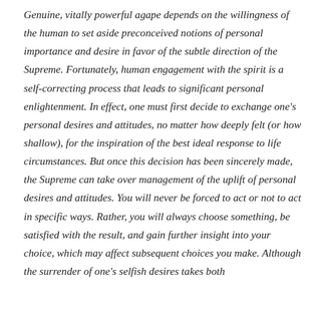Genuine, vitally powerful agape depends on the willingness of the human to set aside preconceived notions of personal importance and desire in favor of the subtle direction of the Supreme. Fortunately, human engagement with the spirit is a self-correcting process that leads to significant personal enlightenment. In effect, one must first decide to exchange one's personal desires and attitudes, no matter how deeply felt (or how shallow), for the inspiration of the best ideal response to life circumstances. But once this decision has been sincerely made, the Supreme can take over management of the uplift of personal desires and attitudes. You will never be forced to act or not to act in specific ways. Rather, you will always choose something, be satisfied with the result, and gain further insight into your choice, which may affect subsequent choices you make. Although the surrender of one's selfish desires takes both